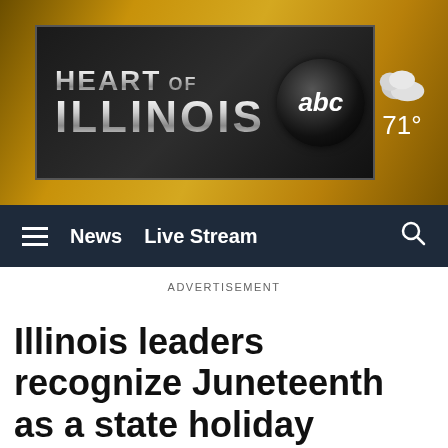[Figure (logo): Heart of Illinois ABC news station logo with golden gradient background, weather widget showing cloud icon and 71 degrees]
[Figure (screenshot): Navigation bar with hamburger menu, News and Live Stream links, and search icon on dark navy background]
ADVERTISEMENT
Illinois leaders recognize Juneteenth as a state holiday
A Juneteenth flag on display outside the Illinois State Museum in Springfield, Illinois.
[Figure (photo): Gray advertisement banner area with close button]